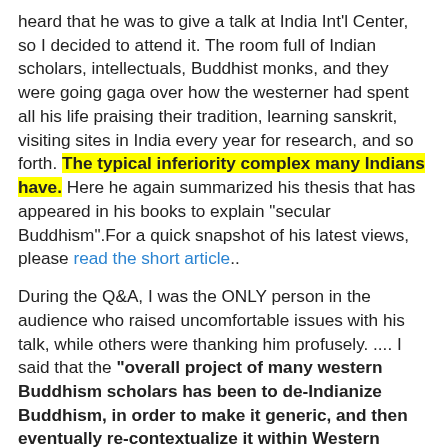heard that he was to give a talk at India Int'l Center, so I decided to attend it. The room full of Indian scholars, intellectuals, Buddhist monks, and they were going gaga over how the westerner had spent all his life praising their tradition, learning sanskrit, visiting sites in India every year for research, and so forth. The typical inferiority complex many Indians have. Here he again summarized his thesis that has appeared in his books to explain "secular Buddhism".For a quick snapshot of his latest views, please read the short article..
During the Q&A, I was the ONLY person in the audience who raised uncomfortable issues with his talk, while others were thanking him profusely. .... I said that the "overall project of many western Buddhism scholars has been to de-Indianize Buddhism, in order to make it generic, and then eventually re-contextualize it within Western thought." This really shook him up, as these folks are not accustomed to being challenged by Indians on scholarly grounds. After the event was over, he wanted to casually chat with me and find out who I was, .... After he left, the Indian cronies remaining in the room started